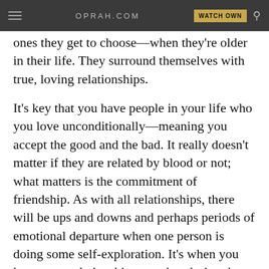OPRAH.COM  WATCH OWN
ones they get to choose—when they're older in their life. They surround themselves with true, loving relationships.
It's key that you have people in your life who you love unconditionally—meaning you accept the good and the bad. It really doesn't matter if they are related by blood or not; what matters is the commitment of friendship. As with all relationships, there will be ups and downs and perhaps periods of emotional departure when one person is doing some self-exploration. It's when you keep your relationships together during these explorations that you make close and lasting bonds. However, sometimes you do part ways as you take different